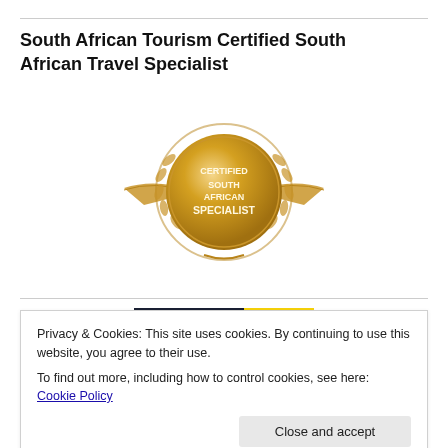South African Tourism Certified South African Travel Specialist
[Figure (logo): Gold medal badge with ribbon reading 'Certified South African Specialist']
[Figure (logo): South Africa Tourism logo with colored stripes banner]
Privacy & Cookies: This site uses cookies. By continuing to use this website, you agree to their use.
To find out more, including how to control cookies, see here: Cookie Policy
Close and accept
de Wets Wild on Facebook